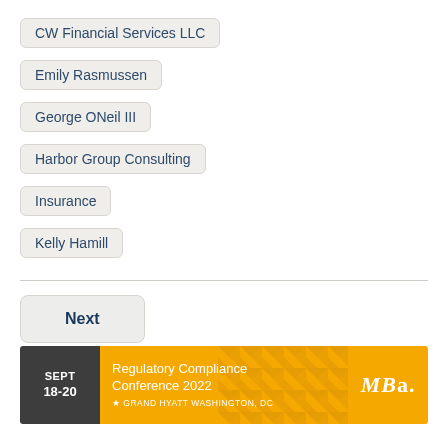CW Financial Services LLC
Emily Rasmussen
George ONeil III
Harbor Group Consulting
Insurance
Kelly Hamill
Next
[Figure (infographic): Banner advertisement for MBA Regulatory Compliance Conference 2022, Sept 18-20, Grand Hyatt Washington DC]